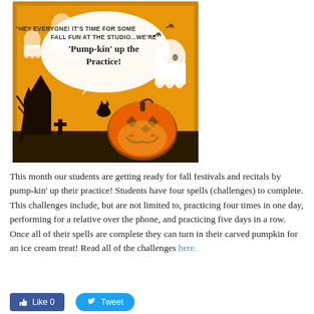[Figure (illustration): Halloween-themed promotional image with orange background, pumpkin, ghosts, haunted house, and a speech bubble reading: 'Hey everyone! It's time for some fall fun at the studio...we're Pump-kin' up the Practice!']
This month our students are getting ready for fall festivals and recitals by pump-kin' up their practice! Students have four spells (challenges) to complete. This challenges include, but are not limited to, practicing four times in one day, performing for a relative over the phone, and practicing five days in a row. Once all of their spells are complete they can turn in their carved pumpkin for an ice cream treat! Read all of the challenges here.